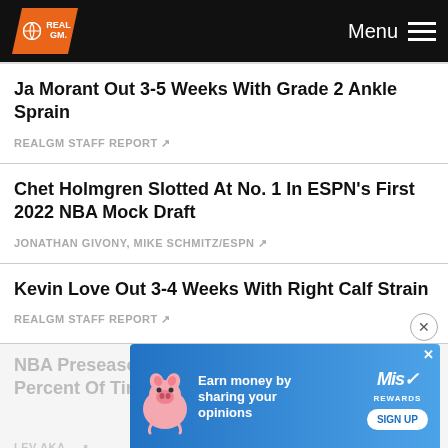RealGM Menu
Ja Morant Out 3-5 Weeks With Grade 2 Ankle Sprain
REALGM STAFF REPORT
Chet Holmgren Slotted At No. 1 In ESPN's First 2022 NBA Mock Draft
JONATHAN GIVONY, MIKE SCHMITZ/ESPN
Kevin Love Out 3-4 Weeks With Right Calf Strain
REALGM STAFF REPORT
NBA Preseason Favorite Has Won Finals 50 Percent Of Time Since 19...
LEV AKA...